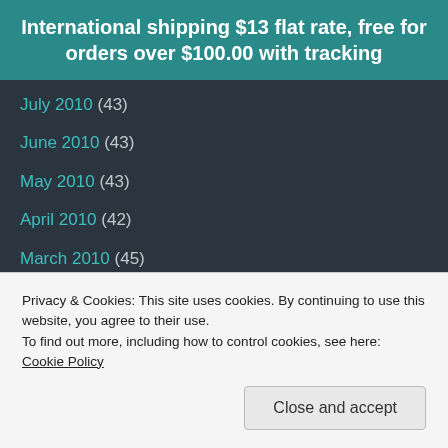International shipping $13 flat rate, free for orders over $100.00 with tracking
July 2010 (43)
June 2010 (43)
May 2010 (43)
April 2010 (42)
March 2010 (45)
February 2010 (39)
January 2010 (34)
December 2009 (26)
November 2009 (32)
Privacy & Cookies: This site uses cookies. By continuing to use this website, you agree to their use. To find out more, including how to control cookies, see here: Cookie Policy
Close and accept